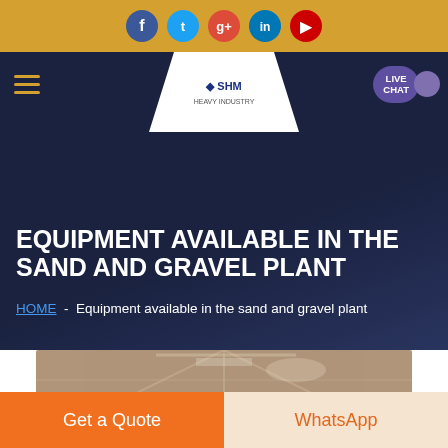[Figure (screenshot): Social media icons row: Facebook (blue), Twitter (cyan), Google+ (red), LinkedIn (blue), YouTube (red) on golden/amber background bar]
[Figure (logo): SHM logo in white trapezoid shape at top center of navigation]
EQUIPMENT AVAILABLE IN THE SAND AND GRAVEL PLANT
HOME  -  Equipment available in the sand and gravel plant
[Figure (photo): Partial view of industrial building interior structure, sepia-toned]
Get a Quote
WhatsApp